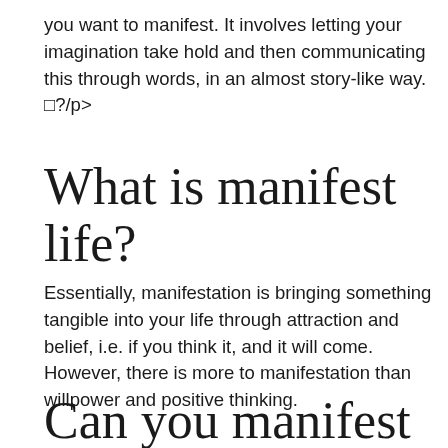you want to manifest. It involves letting your imagination take hold and then communicating this through words, in an almost story-like way.  ?/p>
What is manifest life?
Essentially, manifestation is bringing something tangible into your life through attraction and belief, i.e. if you think it, and it will come. However, there is more to manifestation than willpower and positive thinking.
Can you manifest